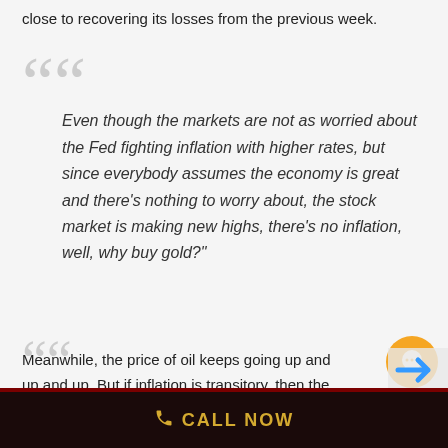close to recovering its losses from the previous week.
Even though the markets are not as worried about the Fed fighting inflation with higher rates, but since everybody assumes the economy is great and there's nothing to worry about, the stock market is making new highs, there's no inflation, well, why buy gold?
Meanwhile, the price of oil keeps going up and up and up. But if inflation is transitory, then the rising oil prices must be transitory as well, right? Peter doesn't think so.
CALL NOW